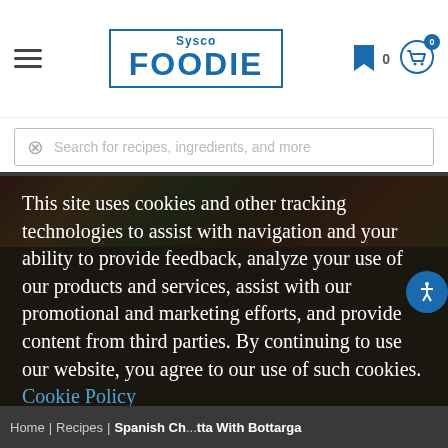[Figure (screenshot): Sysco Foodie website header with logo, hamburger menu, bookmark icon with 0 count, and cart icon with 0 badge]
Search for recipes, ingredients, and more
[Figure (photo): Food image in background showing grilled/roasted items]
This site uses cookies and other tracking technologies to assist with navigation and your ability to provide feedback, analyze your use of our products and services, assist with our promotional and marketing efforts, and provide content from third parties. By continuing to use our website, you agree to our use of such cookies. Cookie Policy
Accept
Home | Recipes | Spanish Ch...tta With Bottarga